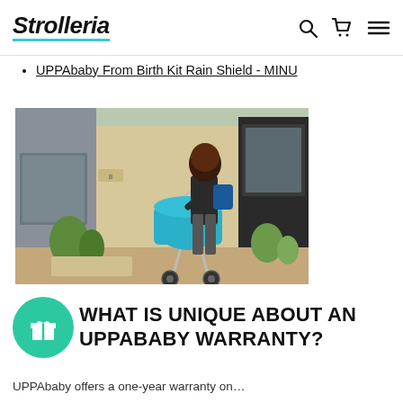Strolleria
UPPAbaby From Birth Kit Rain Shield - MINU
[Figure (photo): Woman leaning over a teal/blue UPPAbaby stroller on a cobblestone sidewalk outside a building]
WHAT IS UNIQUE ABOUT AN UPPABABY WARRANTY?
UPPAbaby offers a one-year warranty on...